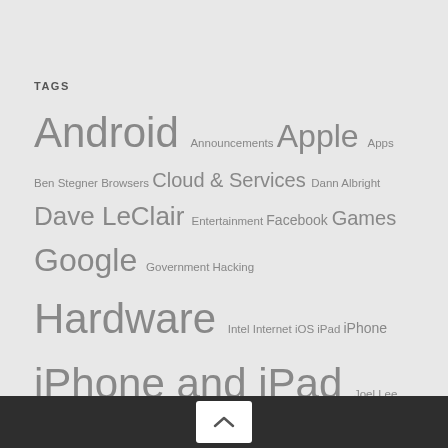TAGS
Android Announcements Apple Apps Ben Stegner Browsers Cloud & Services Dann Albright Dave LeClair Entertainment Facebook Games Google Government Hacking Hardware Intel Internet iOS iPad iPhone iPhone and iPad Joel Lee Laptops Legal Mac OS X Microsoft Mihir Patkar Mobile Office Productivity Processors Productivity Save Money Security Short Siri Social Media software The Internet Tim Brookes TRBC TRBCFeature Virtual Reality Windows Windows 10